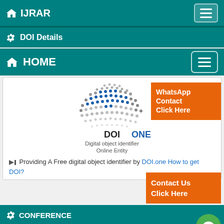IJRAR
DOI Details
HOME
[Figure (logo): DOIONE - Digital object identifier Online Entity logo with globe made of blue dots]
Providing A Free digital object identifier by DOI.one How to get DOI?
CONFERENCE
CONFERENCE MANAGMENT & PUBLICATION
CONFERENCE PROPOSAL